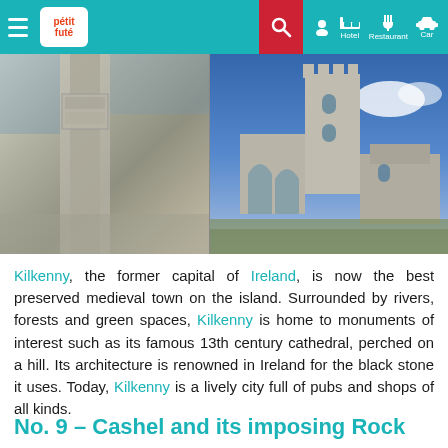Petit Futé — Hotel Restaurant Car
[Figure (photo): Two medieval stone architecture photos: left shows carved stone column/pillar detail, right shows a Gothic abbey or cathedral ruins with tower against blue sky]
Kilkenny, the former capital of Ireland, is now the best preserved medieval town on the island. Surrounded by rivers, forests and green spaces, Kilkenny is home to monuments of interest such as its famous 13th century cathedral, perched on a hill. Its architecture is renowned in Ireland for the black stone it uses. Today, Kilkenny is a lively city full of pubs and shops of all kinds.
No. 9 – Cashel and its imposing Rock